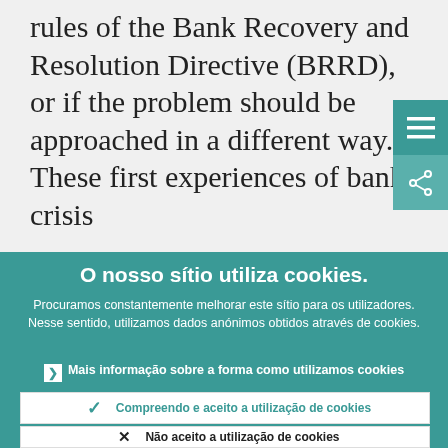rules of the Bank Recovery and Resolution Directive (BRRD), or if the problem should be approached in a different way. These first experiences of bank crisis
O nosso sítio utiliza cookies.
Procuramos constantemente melhorar este sítio para os utilizadores. Nesse sentido, utilizamos dados anónimos obtidos através de cookies.
Mais informação sobre a forma como utilizamos cookies
Compreendo e aceito a utilização de cookies
Não aceito a utilização de cookies